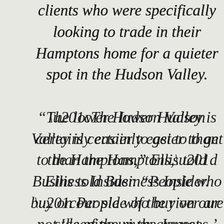clients who were specifically looking to trade in their Hamptons home for a quieter spot in the Hudson Valley.

“The lower Hudson Valley is certainly easier to get to than the Hamptons,” Ellis told Business Insider. “People who buy on our side of the river are not ‘keeping up the Joneses,’ so to speak. They’re looking to impress themselves, not others.”